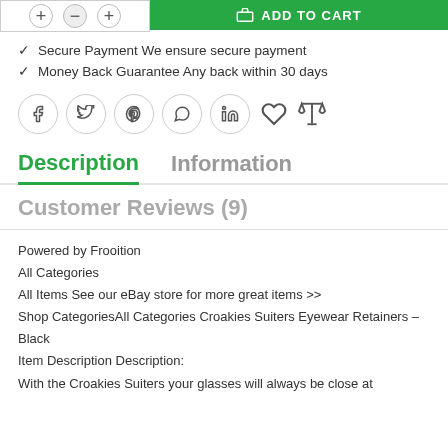[Figure (screenshot): Top section showing quantity selector and green Add to Cart button]
Secure Payment We ensure secure payment
Money Back Guarantee Any back within 30 days
[Figure (infographic): Social sharing icons row: Facebook, Twitter, Pinterest, WhatsApp, LinkedIn, Wishlist heart, Compare scales]
Description
Information
Customer Reviews (9)
Powered by Frooition
All Categories
All Items See our eBay store for more great items >>
Shop CategoriesAll Categories Croakies Suiters Eyewear Retainers – Black
Item Description Description:
With the Croakies Suiters your glasses will always be close at